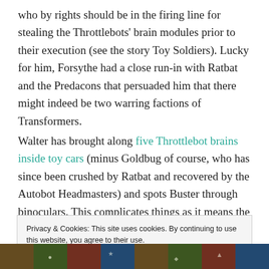who by rights should be in the firing line for stealing the Throttlebots' brain modules prior to their execution (see the story Toy Soldiers). Lucky for him, Forsythe had a close run-in with Ratbat and the Predacons that persuaded him that there might indeed be two warring factions of Transformers.
Walter has brought along five Throttlebot brains inside toy cars (minus Goldbug of course, who has since been crushed by Ratbat and recovered by the Autobot Headmasters) and spots Buster through binoculars. This complicates things as it means the navy can't attack
Privacy & Cookies: This site uses cookies. By continuing to use this website, you agree to their use.
To find out more, including how to control cookies, see here: Cookie Policy
Close and accept
[Figure (illustration): Colorful comic book style image strip at the bottom of the page]